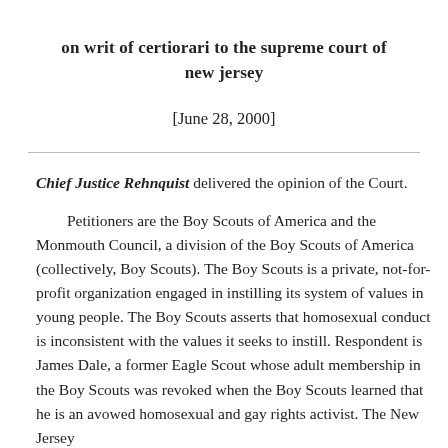on writ of certiorari to the supreme court of new jersey
[June 28, 2000]
Chief Justice Rehnquist delivered the opinion of the Court.
Petitioners are the Boy Scouts of America and the Monmouth Council, a division of the Boy Scouts of America (collectively, Boy Scouts). The Boy Scouts is a private, not-for-profit organization engaged in instilling its system of values in young people. The Boy Scouts asserts that homosexual conduct is inconsistent with the values it seeks to instill. Respondent is James Dale, a former Eagle Scout whose adult membership in the Boy Scouts was revoked when the Boy Scouts learned that he is an avowed homosexual and gay rights activist. The New Jersey...